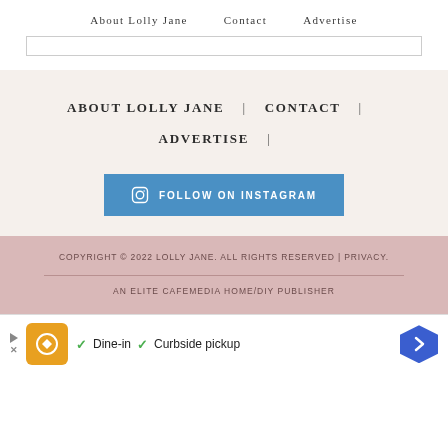About Lolly Jane   Contact   Advertise
ABOUT LOLLY JANE | CONTACT | ADVERTISE |
[Figure (other): Blue button with Instagram icon and text FOLLOW ON INSTAGRAM]
COPYRIGHT © 2022 LOLLY JANE. ALL RIGHTS RESERVED | PRIVACY.
AN ELITE CAFEMEDIA HOME/DIY PUBLISHER
[Figure (other): Advertisement banner with orange logo, Dine-in and Curbside pickup text with checkmarks, and blue arrow button]